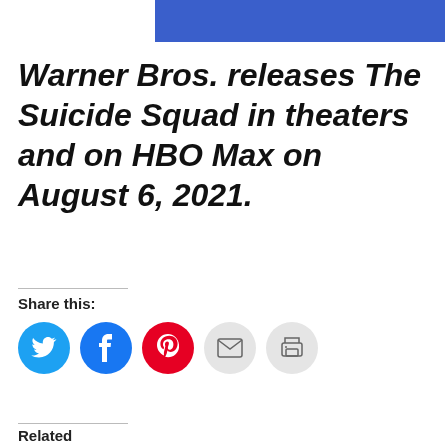[Figure (other): Blue banner/header bar at the top of the page]
Warner Bros. releases The Suicide Squad in theaters and on HBO Max on August 6, 2021.
Share this:
[Figure (infographic): Social share icon buttons: Twitter (blue), Facebook (blue), Pinterest (red), Email (gray), Print (gray)]
Related